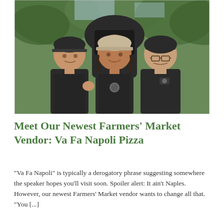[Figure (photo): Three people wearing black aprons and caps standing in front of a large dark wood-fired pizza oven outdoors with green trees in the background. They are smiling at the camera.]
Meet Our Newest Farmers' Market Vendor: Va Fa Napoli Pizza
"Va Fa Napoli" is typically a derogatory phrase suggesting somewhere the speaker hopes you'll visit soon. Spoiler alert: It ain't Naples. However, our newest Farmers' Market vendor wants to change all that. "You [...]